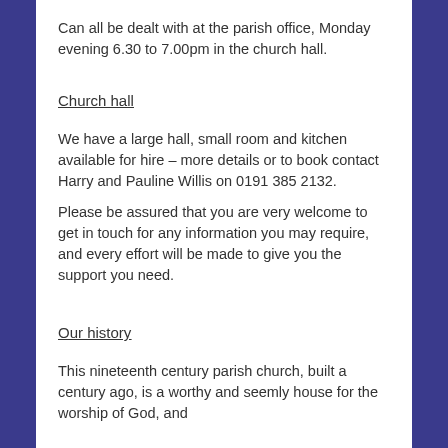Can all be dealt with at the parish office, Monday evening 6.30 to 7.00pm in the church hall.
Church hall
We have a large hall, small room and kitchen available for hire – more details or to book contact Harry and Pauline Willis on 0191 385 2132.
Please be assured that you are very welcome to get in touch for any information you may require, and every effort will be made to give you the support you need.
Our history
This nineteenth century parish church, built a century ago, is a worthy and seemly house for the worship of God, and